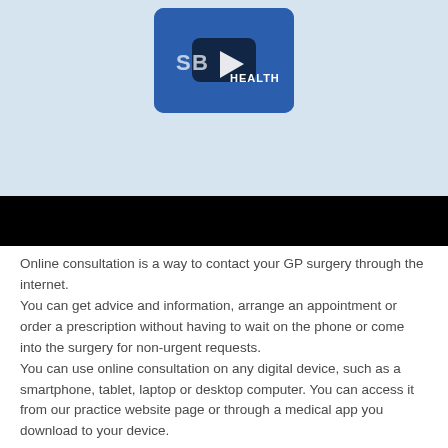[Figure (screenshot): Video thumbnail showing SB Health logo on a blue square background with a play button overlay, set against a light blue background with a black bar below]
Online consultation is a way to contact your GP surgery through the internet.
You can get advice and information, arrange an appointment or order a prescription without having to wait on the phone or come into the surgery for non-urgent requests.
You can use online consultation on any digital device, such as a smartphone, tablet, laptop or desktop computer. You can access it from our practice website page or through a medical app you download to your device.